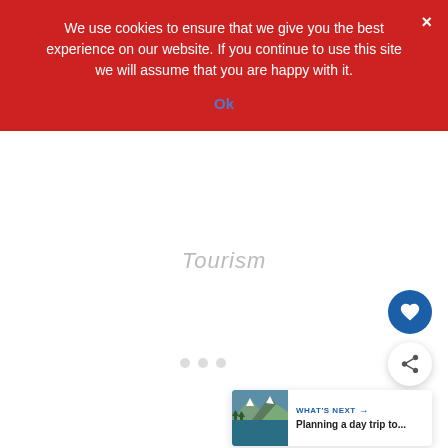We use cookies to ensure that we give you the best experience on our website. If you continue to use this site we will assume that you are happy with it.
Ok
Tourism
[Figure (screenshot): Floating heart (favorite) button — circular blue button with white heart icon]
[Figure (screenshot): Floating share button — circular white button with share icon]
[Figure (screenshot): What's Next card showing a mountain lake thumbnail with text 'WHAT'S NEXT → Planning a day trip to...']